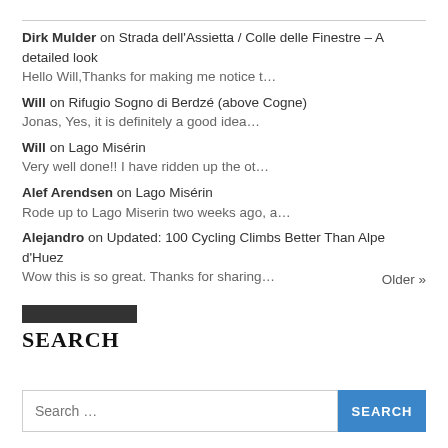Dirk Mulder on Strada dell'Assietta / Colle delle Finestre – A detailed look
Hello Will,Thanks for making me notice t...
Will on Rifugio Sogno di Berdzé (above Cogne)
Jonas, Yes, it is definitely a good idea...
Will on Lago Misérin
Very well done!! I have ridden up the ot...
Alef Arendsen on Lago Misérin
Rode up to Lago Miserin two weeks ago, a...
Alejandro on Updated: 100 Cycling Climbs Better Than Alpe d'Huez
Wow this is so great. Thanks for sharing...
Older »
SEARCH